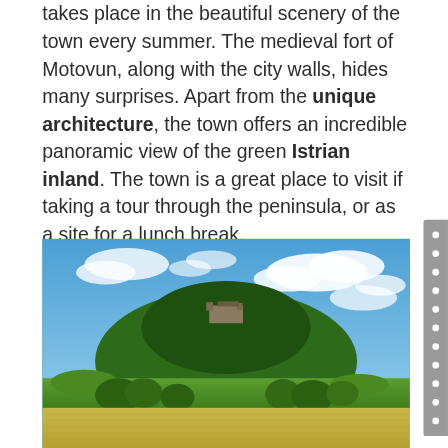takes place in the beautiful scenery of the town every summer. The medieval fort of Motovun, along with the city walls, hides many surprises. Apart from the unique architecture, the town offers an incredible panoramic view of the green Istrian inland. The town is a great place to visit if taking a tour through the peninsula, or as a site for a lunch break.
[Figure (photo): Aerial landscape photograph showing a forested hill topped with a medieval fort (Motovun), surrounded by green fields, trees, and golden wheat fields in the foreground under a partly cloudy blue sky.]